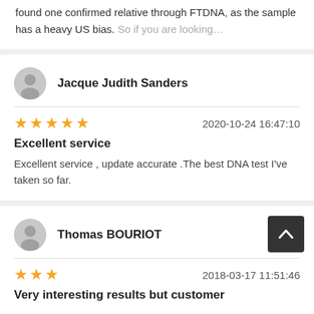found one confirmed relative through FTDNA, as the sample has a heavy US bias. So if you are looking…
Jacque Judith Sanders
2020-10-24 16:47:10 ★★★★★
Excellent service
Excellent service , update accurate .The best DNA test I've taken so far.
Thomas BOURIOT
2018-03-17 11:51:46 ★★★
Very interesting results but customer